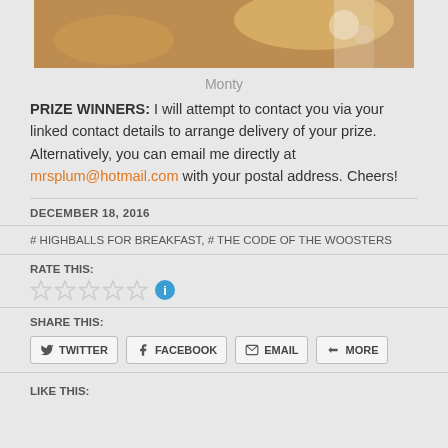[Figure (photo): Close-up photo of a cat (Monty), showing fur and partial face, cropped at top of page]
Monty
PRIZE WINNERS: I will attempt to contact you via your linked contact details to arrange delivery of your prize. Alternatively, you can email me directly at mrsplum@hotmail.com with your postal address. Cheers!
DECEMBER 18, 2016
# HIGHBALLS FOR BREAKFAST, # THE CODE OF THE WOOSTERS
RATE THIS:
SHARE THIS:
TWITTER FACEBOOK EMAIL MORE
LIKE THIS: